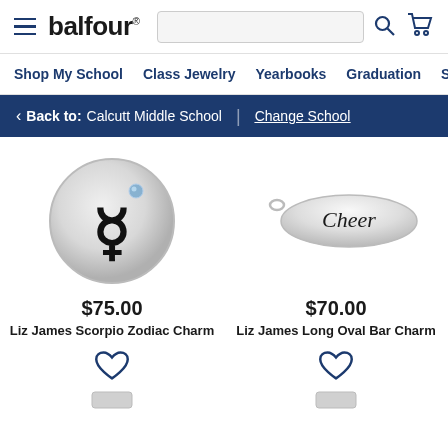[Figure (screenshot): Balfour website header with hamburger menu, logo, search bar, search icon, and shopping cart icon]
Shop My School   Class Jewelry   Yearbooks   Graduation   Sc
< Back to: Calcutt Middle School | Change School
[Figure (photo): Silver circular Scorpio zodiac charm with black Scorpio symbol and small blue gemstone]
$75.00
Liz James Scorpio Zodiac Charm
[Figure (photo): Silver long oval bar charm with 'Cheer' text engraved, with a small loop at top]
$70.00
Liz James Long Oval Bar Charm
[Figure (photo): Heart (wishlist) icon for product below, with partial view of another charm at bottom]
[Figure (photo): Heart (wishlist) icon for product below, with partial view of another charm at bottom]